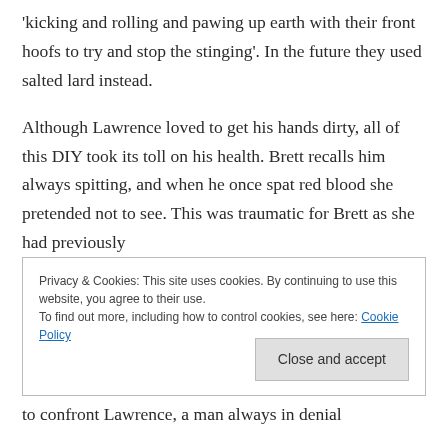'kicking and rolling and pawing up earth with their front hoofs to try and stop the stinging'. In the future they used salted lard instead.
Although Lawrence loved to get his hands dirty, all of this DIY took its toll on his health. Brett recalls him always spitting, and when he once spat red blood she pretended not to see. This was traumatic for Brett as she had previously
Privacy & Cookies: This site uses cookies. By continuing to use this website, you agree to their use.
To find out more, including how to control cookies, see here: Cookie Policy
Close and accept
to confront Lawrence, a man always in denial